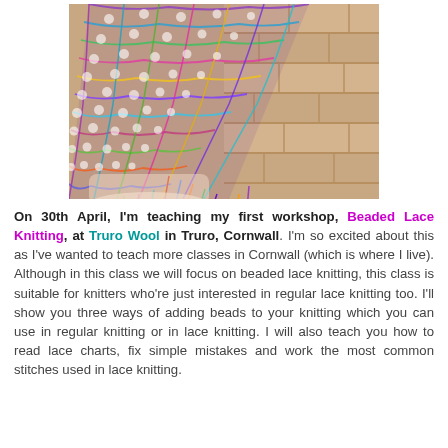[Figure (photo): A colorful multicolored beaded lace knitted shawl with fringe, displayed against a brick wall background. The shawl features an open lace pattern with beads in rainbow colors including purple, green, pink, yellow, and blue.]
On 30th April, I'm teaching my first workshop, Beaded Lace Knitting, at Truro Wool in Truro, Cornwall. I'm so excited about this as I've wanted to teach more classes in Cornwall (which is where I live). Although in this class we will focus on beaded lace knitting, this class is suitable for knitters who're just interested in regular lace knitting too. I'll show you three ways of adding beads to your knitting which you can use in regular knitting or in lace knitting. I will also teach you how to read lace charts, fix simple mistakes and work the most common stitches used in lace knitting.